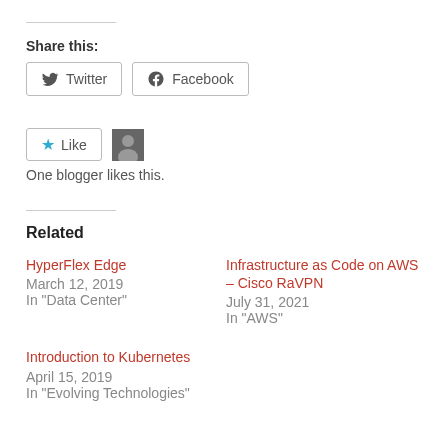Share this:
Twitter  Facebook
Like  One blogger likes this.
Related
HyperFlex Edge
March 12, 2019
In "Data Center"
Infrastructure as Code on AWS – Cisco RaVPN
July 31, 2021
In "AWS"
Introduction to Kubernetes
April 15, 2019
In "Evolving Technologies"